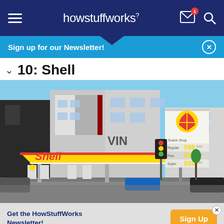howstuffworks
Sign up for our Newsletter!
10: Shell
[Figure (photo): A Shell gas station with yellow canopy branded 'Shell' in red script, Shell logo sign on tall pylon showing gas prices Regular 599, Plus 639, Super 659, with modern apartment buildings in the background under a blue sky.]
Get the HowStuffWorks Newsletter!